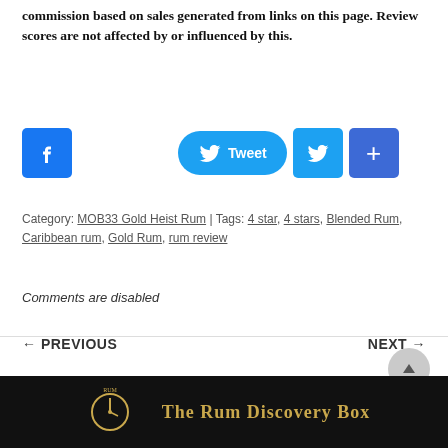may contain affiliate links. As a result I may receive a commission based on sales generated from links on this page. Review scores are not affected by or influenced by this.
[Figure (other): Social sharing buttons: Facebook button, Tweet button, Twitter bird button, and a plus/share button]
Category: MOB33 Gold Heist Rum | Tags: 4 star, 4 stars, Blended Rum, Caribbean rum, Gold Rum, rum review
Comments are disabled
← PREVIOUS
NEXT →
[Figure (other): The Rum Discovery Box banner with gold text and clock/rum logo on dark background]